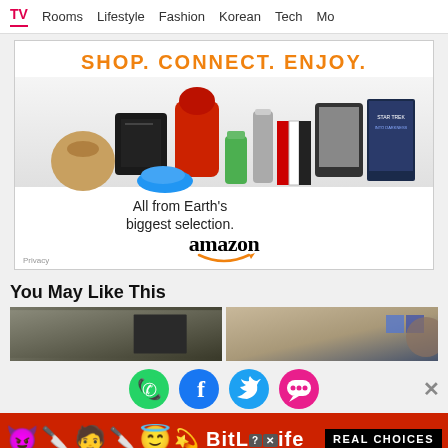TV  Rooms  Lifestyle  Fashion  Korean  Tech  Mo
[Figure (infographic): Amazon advertisement banner with text SHOP. CONNECT. ENJOY. and product images (handbag, PS4, KitchenAid mixer, sneakers, thermos, books, Kindle, Star Trek Blu-ray) above text 'All from Earth's biggest selection.' and the Amazon logo with smile. Privacy label in corner.]
You May Like This
[Figure (photo): Two thumbnail images side by side — left showing a dark interior/room scene, right showing a person and some colored squares.]
[Figure (infographic): Social sharing icons: WhatsApp (green), Facebook (blue), Twitter (light blue), Chat/messaging (pink/magenta), and a close X button on the right.]
[Figure (infographic): BitLife mobile game advertisement banner on red background with emoji icons (devil, person, angel) and a sperm emoji, BitLife logo, and 'REAL CHOICES' text on black background.]